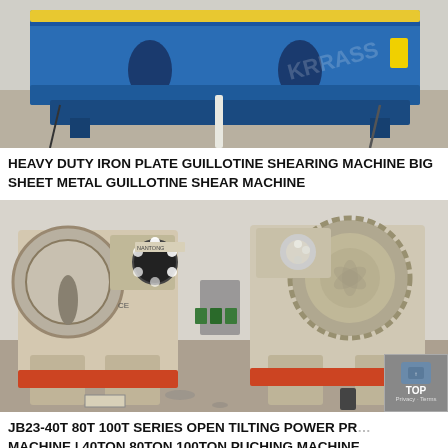[Figure (photo): Photo of a heavy duty blue guillotine shearing machine in an industrial facility]
HEAVY DUTY IRON PLATE GUILLOTINE SHEARING MACHINE BIG SHEET METAL GUILLOTINE SHEAR MACHINE
[Figure (photo): Photo of JB23 series open tilting power press machines (beige/cream colored industrial presses with orange bases) in a workshop, two units visible side by side]
JB23-40T 80T 100T SERIES OPEN TILTING POWER PRESS MACHINE | 40TON 80TON 100TON PUCHING MACHINE